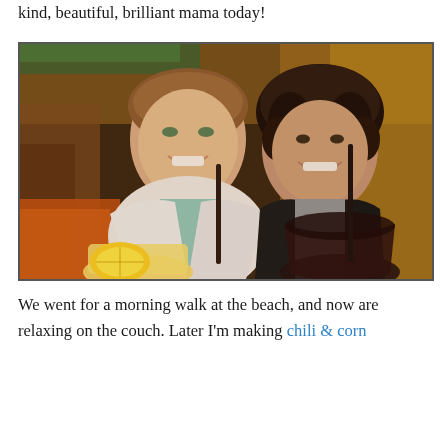kind, beautiful, brilliant mama today!
[Figure (photo): Two women smiling together at what appears to be a restaurant or bar setting with warm amber lighting in the background. The woman on the left has light brown hair and is wearing a white cardigan over a floral top. The woman on the right has dark curly hair and is wearing a black jacket over a grey shirt. Both are holding drinks with straws.]
We went for a morning walk at the beach, and now are relaxing on the couch. Later I'm making chili & corn